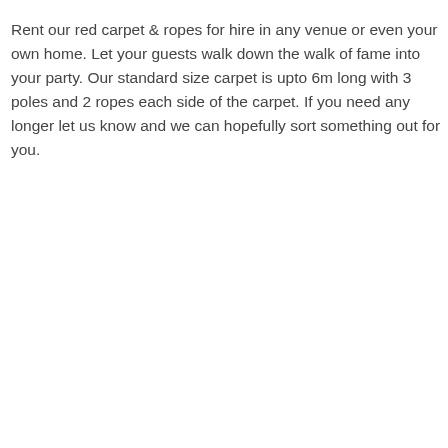Rent our red carpet & ropes for hire in any venue or even your own home. Let your guests walk down the walk of fame into your party. Our standard size carpet is upto 6m long with 3 poles and 2 ropes each side of the carpet. If you need any longer let us know and we can hopefully sort something out for you.